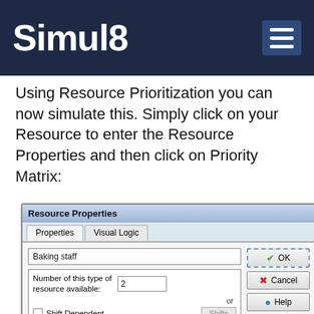SIMUL8
Using Resource Prioritization you can now simulate this. Simply click on your Resource to enter the Resource Properties and then click on Priority Matrix:
[Figure (screenshot): A Windows dialog box titled 'Resource Properties' with tabs 'Properties' and 'Visual Logic'. Contains a text field with 'Baking staff', a section for 'Number of this type of resource available:' showing value 2, a 'Shift Dependent' checkbox with a 'Shifts' button, a 'Schedule Sheet' partially visible checkbox, and buttons OK, Cancel, Help, Memo, Results on the right side.]